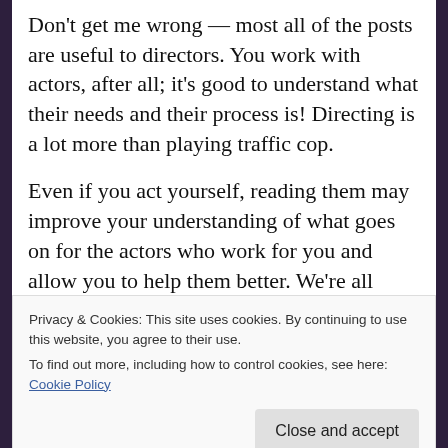Don't get me wrong — most all of the posts are useful to directors.  You work with actors, after all; it's good to understand what their needs and their process is!  Directing is a lot more than playing traffic cop.
Even if you act yourself, reading them may improve your understanding of what goes on for the actors who work for you and allow you to help them better.  We're all different, you know, and what works for you as an actor may not be universally true for your
Privacy & Cookies: This site uses cookies. By continuing to use this website, you agree to their use.
To find out more, including how to control cookies, see here: Cookie Policy
Close and accept
because she wants to keep her conscious beginning of it as much as possible, as if d